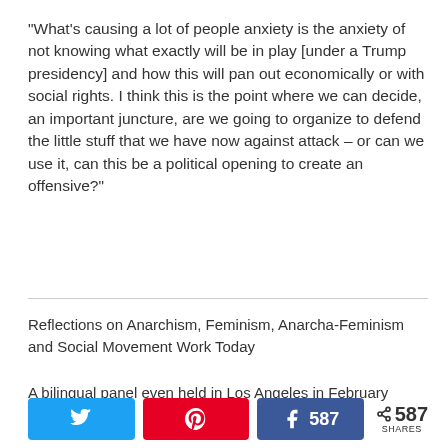“What’s causing a lot of people anxiety is the anxiety of not knowing what exactly will be in play [under a Trump presidency] and how this will pan out economically or with social rights. I think this is the point where we can decide, an important juncture, are we going to organize to defend the little stuff that we have now against attack – or can we use it, can this be a political opening to create an offensive?”
Listen to the Interview
Reflections on Anarchism, Feminism, Anarcha-Feminism and Social Movement Work Today
A bilingual panel even held in Los Angeles in February
[Figure (infographic): Social share buttons: Twitter, Pinterest, Facebook with 587 count, and total 587 SHARES]